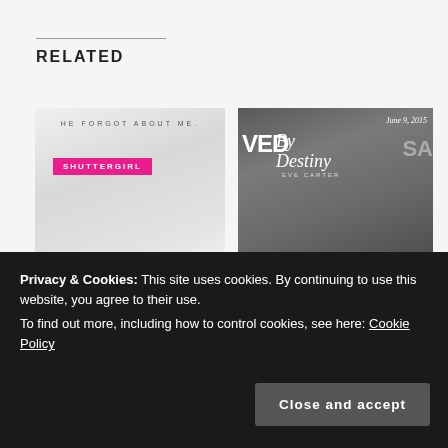RELATED
[Figure (photo): Book cover for Shuttergirl by CD Reiss – black and white romantic image with pink badge text SHUTTERGIRL and tagline HE FORGOT ABOUT ME. USA TODAY BESTSELLER]
SHUTTERGIRL BY CD REISS ~ RELEASE BLITZ & GIVEAWAY
May 25, 2015
In "Release Blitz"
[Figure (photo): Book cover for Saved By Destiny by Eve Carter – black and white romantic image with cursive title and date June 9, 2015]
SAVED BY DESTINY BY EVE CARTER ~ RELEASE BLITZ
June 9, 2015
In "Release Blitz"
[Figure (photo): Broken image: EWEWReleaseblitzBa]
Privacy & Cookies: This site uses cookies. By continuing to use this website, you agree to their use.
To find out more, including how to control cookies, see here: Cookie Policy
Close and accept